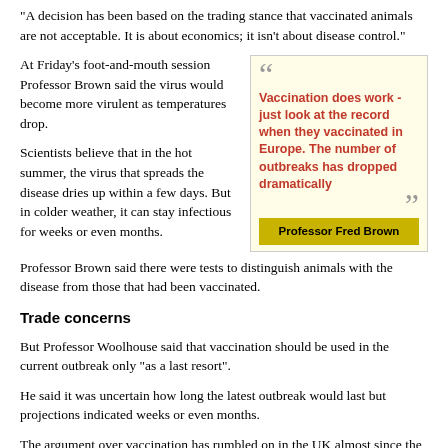"A decision has been based on the trading stance that vaccinated animals are not acceptable. It is about economics; it isn't about disease control."
At Friday's foot-and-mouth session Professor Brown said the virus would become more virulent as temperatures drop.
[Figure (other): Pull quote box with yellow background. Open quote mark, red bold text: 'Vaccination does work - just look at the record when they vaccinated in Europe. The number of outbreaks has dropped dramatically', close quote mark, gold attribution bar: 'Professor Fred Brown']
Scientists believe that in the hot summer, the virus that spreads the disease dries up within a few days. But in colder weather, it can stay infectious for weeks or even months.
Professor Brown said there were tests to distinguish animals with the disease from those that had been vaccinated.
Trade concerns
But Professor Woolhouse said that vaccination should be used in the current outbreak only "as a last resort".
He said it was uncertain how long the latest outbreak would last but projections indicated weeks or even months.
The argument over vaccination has rumbled on in the UK almost since the first confirmed case of the